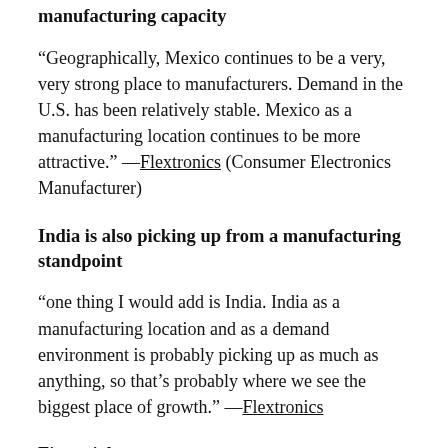manufacturing capacity
“Geographically, Mexico continues to be a very, very strong place to manufacturers. Demand in the U.S. has been relatively stable. Mexico as a manufacturing location continues to be more attractive.” —Flextronics (Consumer Electronics Manufacturer)
India is also picking up from a manufacturing standpoint
“one thing I would add is India. India as a manufacturing location and as a demand environment is probably picking up as much as anything, so that’s probably where we see the biggest place of growth.” —Flextronics
Financials: